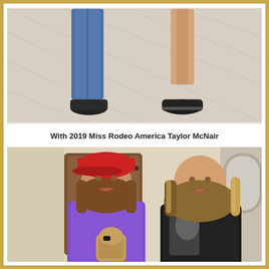[Figure (photo): Photo showing the lower half of two people standing on a light parquet/tile floor — one in blue jeans and the other in a skirt or shorts with black shoes. Cropped at waist level.]
With 2019 Miss Rodeo America Taylor McNair
[Figure (photo): Two young women smiling and posing together indoors. The woman on the left wears a red cap and a purple shirt and holds a small crocheted horse toy. The woman on the right has long highlighted hair and wears a black jacket. They are standing in front of a door and coat hooks area.]